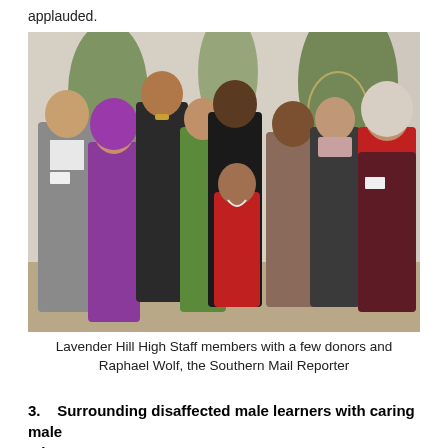applauded.
[Figure (photo): Group photo of Lavender Hill High Staff members with a few donors and Raphael Wolf, the Southern Mail Reporter, posing together indoors with greenery in the background.]
Lavender Hill High Staff members with a few donors and Raphael Wolf, the Southern Mail Reporter
3.    Surrounding disaffected male learners with caring male educators